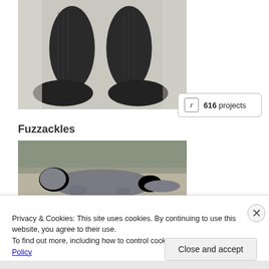[Figure (photo): Close-up photo of dark grey/black knitted socks viewed from above, placed on a sketched/drawn surface]
r  616 projects
Fuzzackles
[Figure (photo): Photo of a grey felted object resembling an animal or creature shape, lying on a concrete or stone surface with foliage in the background]
Privacy & Cookies: This site uses cookies. By continuing to use this website, you agree to their use.
To find out more, including how to control cookies, see here: Cookie Policy
Close and accept